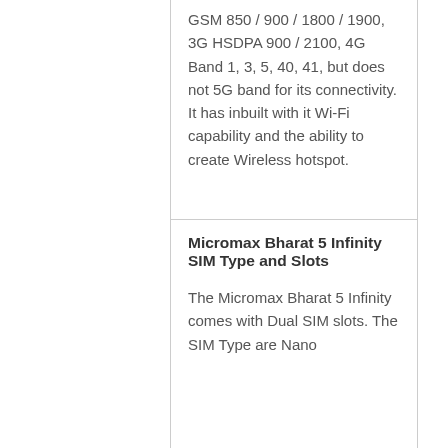GSM 850 / 900 / 1800 / 1900, 3G HSDPA 900 / 2100, 4G Band 1, 3, 5, 40, 41, but does not 5G band for its connectivity. It has inbuilt with it Wi-Fi capability and the ability to create Wireless hotspot.
Micromax Bharat 5 Infinity SIM Type and Slots
The Micromax Bharat 5 Infinity comes with Dual SIM slots. The SIM Type are Nano